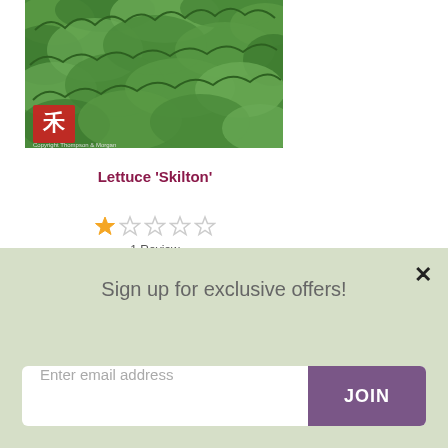[Figure (photo): Close-up photo of green frilly lettuce leaves with a red and white logo in the bottom-left corner and small copyright text below.]
Lettuce 'Skilton'
1 Review
Sun shade: full sun
Grows in: Raised Bed
Longevity: Annual
Sign up for exclusive offers!
Enter email address
JOIN